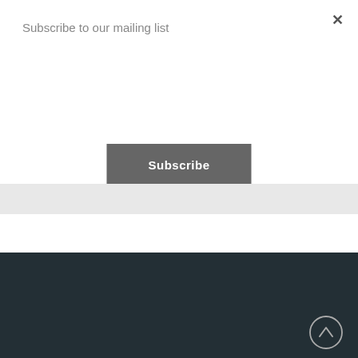Subscribe to our mailing list
×
Subscribe
Mailing Address
1021 Henry Clay Avenue | New Orleans, LA 70118